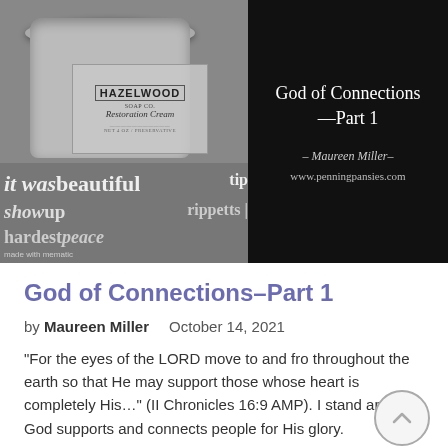[Figure (photo): Black and white photograph showing a Hazelwood Soap Co. Restoration Cream jar sitting on top of stacked books with words 'it was beautiful', 'show up', 'rippetts', 'hardest peace' visible on their spines. The right half of the image is a black panel with white text reading 'God of Connections —Part 1' by Maureen Miller, www.penningpansies.com. Bottom left has 'made with mematic' watermark.]
God of Connections–Part 1
by Maureen Miller   October 14, 2021
"For the eyes of the LORD move to and fro throughout the earth so that He may support those whose heart is completely His…" (II Chronicles 16:9 AMP). I stand amazed. God supports and connects people for His glory.